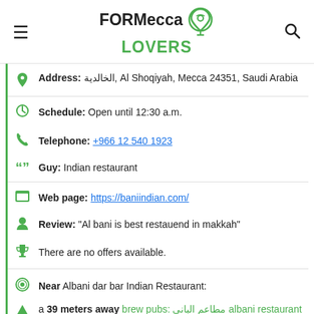FORMecca LOVERS
Address: الخالدية, Al Shoqiyah, Mecca 24351, Saudi Arabia
Schedule: Open until 12:30 a.m.
Telephone: +966 12 540 1923
Guy: Indian restaurant
Web page: https://baniindian.com/
Review: "Al bani is best restauend in makkah"
There are no offers available.
Near Albani dar bar Indian Restaurant:
a 39 meters away brew pubs: مطاعم الباني albani restaurant
a 42 meters away holiday accommodation: Albani